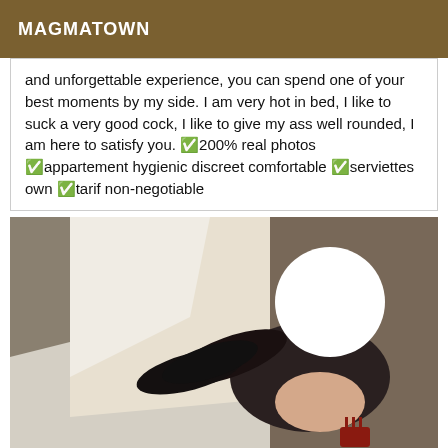MAGMATOWN
and unforgettable experience, you can spend one of your best moments by my side. I am very hot in bed, I like to suck a very good cock, I like to give my ass well rounded, I am here to satisfy you. ✅200% real photos ✅appartement hygienic discreet comfortable ✅serviettes own ✅tarif non-negotiable
[Figure (photo): Photo of a person lying on a bed wearing black lingerie and stockings, with face obscured by a white circle overlay]